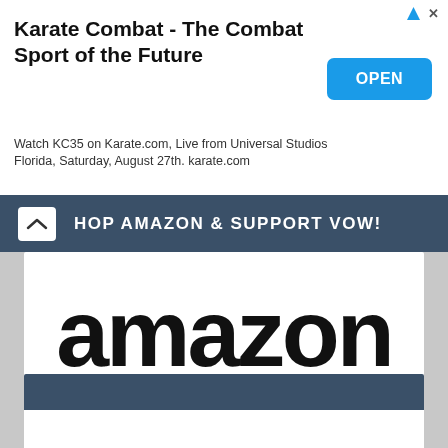[Figure (screenshot): Advertisement banner for Karate Combat with title, OPEN button, and subtitle text]
Karate Combat - The Combat Sport of the Future
Watch KC35 on Karate.com, Live from Universal Studios Florida, Saturday, August 27th. karate.com
[Figure (screenshot): Dark teal bar with text 'SHOP AMAZON & SUPPORT VOW!' and a collapse arrow button]
[Figure (logo): Amazon logo — black lowercase 'amazon' text with orange smile/arrow underneath]
[Figure (screenshot): Dark teal bar and white box with close X button at bottom of page]